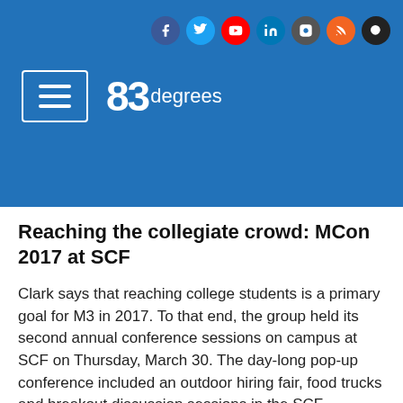83degrees — website header with social icons (Facebook, Twitter, YouTube, LinkedIn, Instagram, RSS, Search) and logo
Reaching the collegiate crowd: MCon 2017 at SCF
Clark says that reaching college students is a primary goal for M3 in 2017. To that end, the group held its second annual conference sessions on campus at SCF on Thursday, March 30. The day-long pop-up conference included an outdoor hiring fair, food trucks and breakout discussion sessions in the SCF gymnasium.
"A lot of people who attended last year's events were young professionals, but we noticed that we didn't really engage college students. Most of our